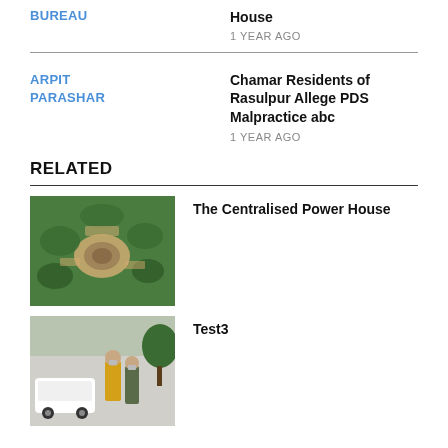BUREAU
House
1 YEAR AGO
ARPIT PARASHAR
Chamar Residents of Rasulpur Allege PDS Malpractice abc
1 YEAR AGO
RELATED
The Centralised Power House
[Figure (photo): Aerial view of a complex with circular building surrounded by green landscaping]
Test3
[Figure (photo): Street scene with people including someone in a yellow outfit near a white vehicle]